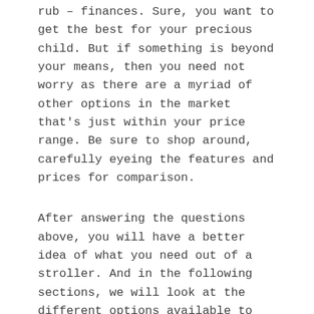rub – finances. Sure, you want to get the best for your precious child. But if something is beyond your means, then you need not worry as there are a myriad of other options in the market that's just within your price range. Be sure to shop around, carefully eyeing the features and prices for comparison.
After answering the questions above, you will have a better idea of what you need out of a stroller. And in the following sections, we will look at the different options available to you – from their features, PROs and CONs, and our top picks for every category.